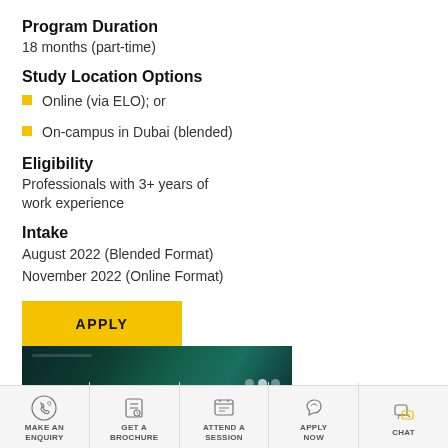Program Duration
18 months (part-time)
Study Location Options
Online (via ELO); or
On-campus in Dubai (blended)
Eligibility
Professionals with 3+ years of work experience
Intake
August 2022 (Blended Format)
November 2022 (Online Format)
[Figure (screenshot): Apply button - yellow/gold rectangular button with bold text APPLY]
[Figure (screenshot): Banner image with dark teal/green background, appears to be a web page screenshot with dots navigation]
MAKE AN ENQUIRY | GET A BROCHURE | ATTEND A SESSION | APPLY NOW | CHAT